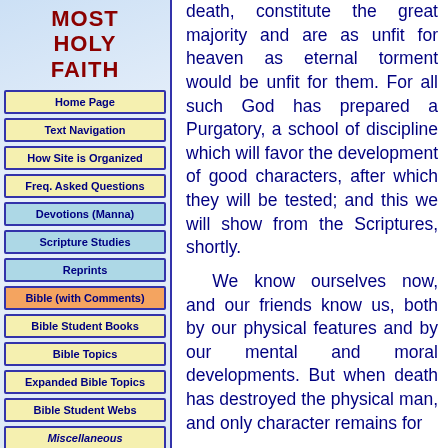MOST HOLY FAITH
Home Page
Text Navigation
How Site is Organized
Freq. Asked Questions
Devotions (Manna)
Scripture Studies
Reprints
Bible (with Comments)
Bible Student Books
Bible Topics
Expanded Bible Topics
Bible Student Webs
Miscellaneous
death, constitute the great majority and are as unfit for heaven as eternal torment would be unfit for them. For all such God has prepared a Purgatory, a school of discipline which will favor the development of good characters, after which they will be tested; and this we will show from the Scriptures, shortly.
We know ourselves now, and our friends know us, both by our physical features and by our mental and moral developments. But when death has destroyed the physical man, and only character remains for